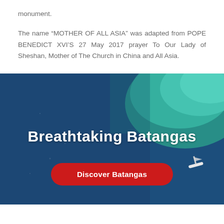monument.
The name “MOTHER OF ALL ASIA” was adapted from POPE BENEDICT XVI’S 27 May 2017 prayer To Our Lady of Sheshan, Mother of The Church in China and All Asia.
[Figure (photo): Aerial view of deep blue ocean with turquoise water visible in the upper right, and a small white boat visible at the lower right. Text overlay reads 'Breathtaking Batangas' with a red 'Discover Batangas' button below.]